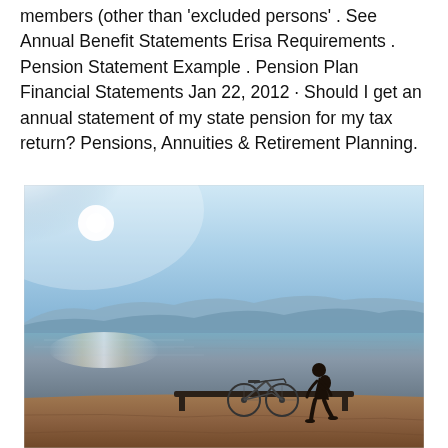members (other than 'excluded persons' . See Annual Benefit Statements Erisa Requirements . Pension Statement Example . Pension Plan Financial Statements Jan 22, 2012 · Should I get an annual statement of my state pension for my tax return? Pensions, Annuities & Retirement Planning.
[Figure (photo): A person standing near a bicycle on a waterfront promenade at sunset or sunrise, with mountains in the background across the water, and bright sunlight creating a hazy glow in the upper left of the image.]